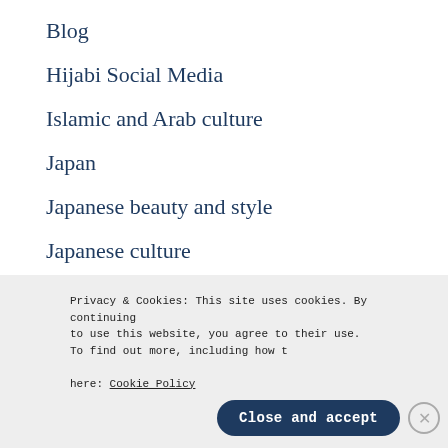Blog
Hijabi Social Media
Islamic and Arab culture
Japan
Japanese beauty and style
Japanese culture
lifestyle and home
Privacy & Cookies: This site uses cookies. By continuing to use this website, you agree to their use.
To find out more, including how to control cookies, see here: Cookie Policy
Close and accept